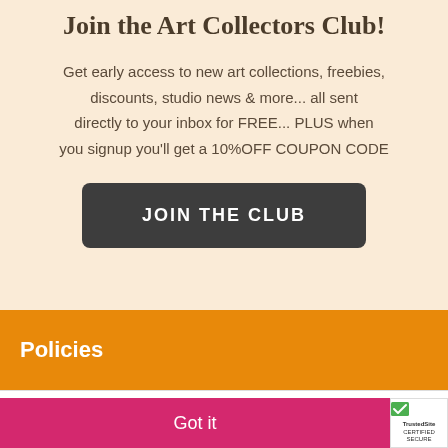Join the Art Collectors Club!
Get early access to new art collections, freebies, discounts, studio news & more... all sent directly to your inbox for FREE... PLUS when you signup you'll get a 10%OFF COUPON CODE
JOIN THE CLUB
Policies
🍪 This website uses cookies to run beautifully. Privacy Policy
Got it
[Figure (logo): TrustedSite CERTIFIED SECURE badge]